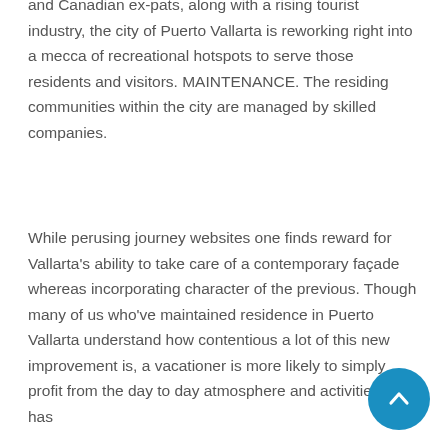and Canadian ex-pats, along with a rising tourist industry, the city of Puerto Vallarta is reworking right into a mecca of recreational hotspots to serve those residents and visitors. MAINTENANCE. The residing communities within the city are managed by skilled companies.
While perusing journey websites one finds reward for Vallarta's ability to take care of a contemporary façade whereas incorporating character of the previous. Though many of us who've maintained residence in Puerto Vallarta understand how contentious a lot of this new improvement is, a vacationer is more likely to simply profit from the day to day atmosphere and activities. She has